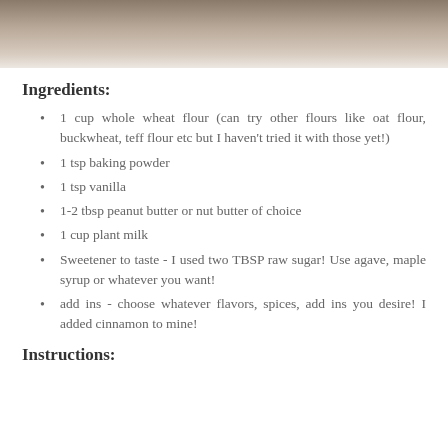[Figure (photo): Close-up photo of a bowl or cup with food, brown and cream tones, partially visible at top of page]
Ingredients:
1 cup whole wheat flour (can try other flours like oat flour, buckwheat, teff flour etc but I haven't tried it with those yet!)
1 tsp baking powder
1 tsp vanilla
1-2 tbsp peanut butter or nut butter of choice
1 cup plant milk
Sweetener to taste - I used two TBSP raw sugar! Use agave, maple syrup or whatever you want!
add ins - choose whatever flavors, spices, add ins you desire! I added cinnamon to mine!
Instructions: